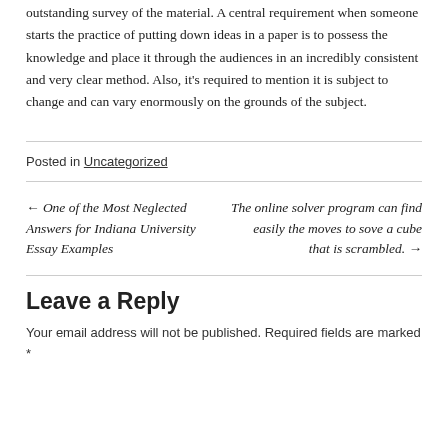outstanding survey of the material. A central requirement when someone starts the practice of putting down ideas in a paper is to possess the knowledge and place it through the audiences in an incredibly consistent and very clear method. Also, it's required to mention it is subject to change and can vary enormously on the grounds of the subject.
Posted in Uncategorized
← One of the Most Neglected Answers for Indiana University Essay Examples
The online solver program can find easily the moves to sove a cube that is scrambled. →
Leave a Reply
Your email address will not be published. Required fields are marked *